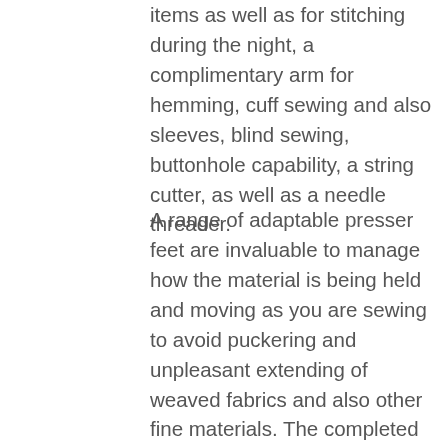items as well as for stitching during the night, a complimentary arm for hemming, cuff sewing and also sleeves, blind sewing, buttonhole capability, a string cutter, as well as a needle threader.
A range of adaptable presser feet are invaluable to manage how the material is being held and moving as you are sewing to avoid puckering and unpleasant extending of weaved fabrics and also other fine materials. The completed item will look extra professional and also appealing.
I would rule out any type of machine that does not come geared up with a minimum of 6-10 built-in stitches, a zipper foot,